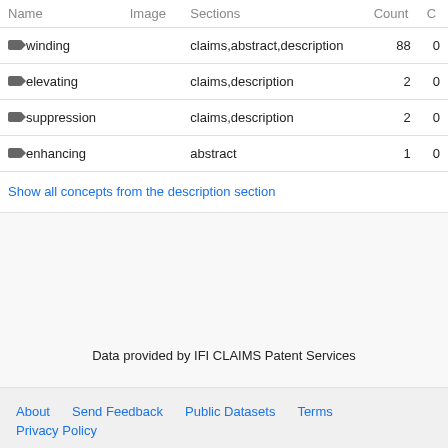| Name | Image | Sections | Count | C |
| --- | --- | --- | --- | --- |
| winding |  | claims,abstract,description | 88 | 0 |
| elevating |  | claims,description | 2 | 0 |
| suppression |  | claims,description | 2 | 0 |
| enhancing |  | abstract | 1 | 0 |
| Show all concepts from the description section |  |  |  |  |
Data provided by IFI CLAIMS Patent Services
About   Send Feedback   Public Datasets   Terms   Privacy Policy